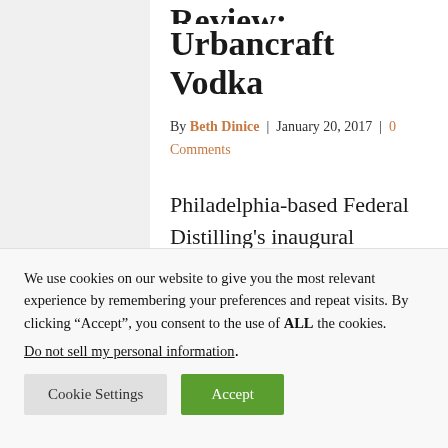Review: Stateside Urbancraft Vodka
By Beth Dinice | January 20, 2017 | 0 Comments
Philadelphia-based Federal Distilling’s inaugural Stateside Urbancraft Vodka does not disappoint.
We use cookies on our website to give you the most relevant experience by remembering your preferences and repeat visits. By clicking “Accept”, you consent to the use of ALL the cookies.
Do not sell my personal information.